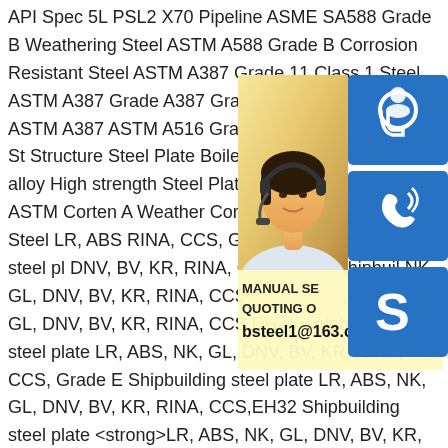API Spec 5L PSL2 X70 Pipeline ASME SA588 Grade B Weathering Steel ASTM A588 Grade B Corrosion Resistant Steel ASTM A387 Grade 11 Class 1 Steel ASTM A387 Grade A387 Grade 11 Class 1 Steel ASTM A387 ASTM A516 Grade 70 Steel Plate Alloy St Structure Steel Plate Boiler and Pressure and Low alloy High strength Steel Plate C Rolled Steel Coil ASTM Corten A Weather Corten B Weather Resistant Steel LR, ABS RINA, CCS, Grade D Shipbuilding steel pl DNV, BV, KR, RINA, CCS, DH32 Shipbuil NK, GL, DNV, BV, KR, RINA, CCS,DH36 S LR, ABS, NK, GL, DNV, BV, KR, RINA, CCS DH40 Shipbuilding steel plate LR, ABS, NK, GL, DNV, BV, KR, RINA, CCS, Grade E Shipbuilding steel plate LR, ABS, NK, GL, DNV, BV, KR, RINA, CCS,EH32 Shipbuilding steel plate <strong>LR, ABS, NK, GL, DNV, BV, KR, RINA, CCS</strong> EH36 Shipbuilding steel plate LR, ABS, NK, GL, DNV, BV, KR, RINA, CCS EH40 Shipbuilding
[Figure (photo): Customer service representative (woman with headset) with yellow/cream background, overlapped by blue icon panels showing headset icon, phone icon, and Skype icon. Contact info overlay shows 'MANUAL SE QUOTING O bsteel1@163.com'.]